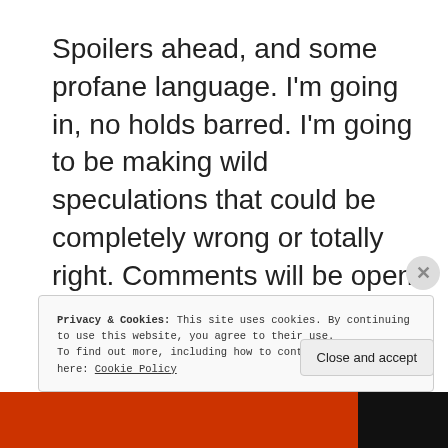Spoilers ahead, and some profane language. I'm going in, no holds barred. I'm going to be making wild speculations that could be completely wrong or totally right. Comments will be open for dialogue for all of my fellow comic followers!
.
.
Privacy & Cookies: This site uses cookies. By continuing to use this website, you agree to their use.
To find out more, including how to control cookies, see here: Cookie Policy
Close and accept